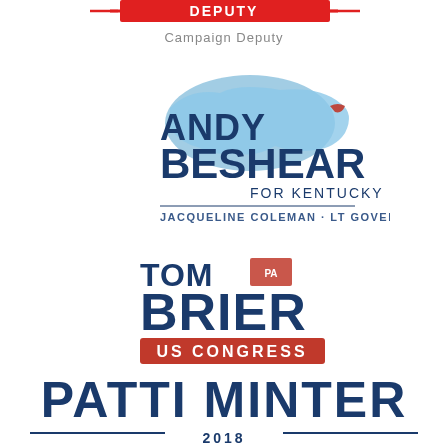[Figure (logo): Partial top logo with red banner reading DEPUTY and gray text 'Campaign Deputy']
[Figure (logo): Andy Beshear for Kentucky campaign logo with Kentucky state outline in blue, JACQUELINE COLEMAN LT GOVERNOR subtitle]
[Figure (logo): Tom Brier US Congress campaign logo with Pennsylvania state outline in red]
[Figure (logo): Patti Minter 2018 campaign logo in dark navy blue with decorative lines]